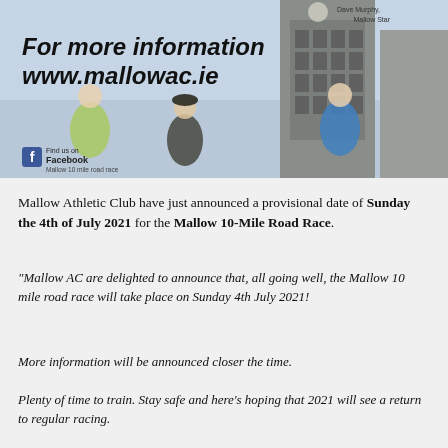[Figure (photo): Photo of runners participating in the Mallow 10-Mile Road Race in front of a historic stone clock tower building. Overlaid text reads 'For more information www.mallowac.ie' and a Facebook badge 'Find us on Facebook Mallow 10 Mile road race'. Top right corner has small text 'Dave Murphy, Mallow Star'.]
Mallow Athletic Club have just announced a provisional date of Sunday the 4th of July 2021 for the Mallow 10-Mile Road Race.
"Mallow AC are delighted to announce that, all going well, the Mallow 10 mile road race will take place on Sunday 4th July 2021!
More information will be announced closer the time.
Plenty of time to train. Stay safe and here's hoping that 2021 will see a return to regular racing.